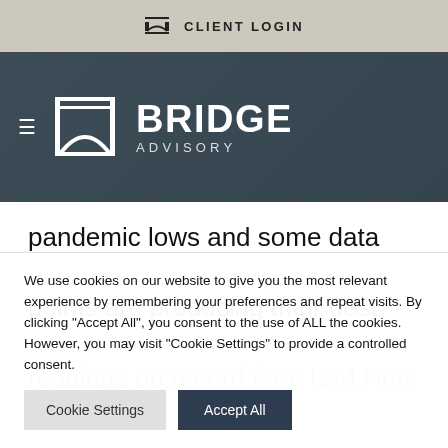CLIENT LOGIN
[Figure (logo): Bridge Advisory logo with bridge arch icon and text BRIDGE ADVISORY]
pandemic lows and some data points are producing their best readings on record (see ISM Non
We use cookies on our website to give you the most relevant experience by remembering your preferences and repeat visits. By clicking "Accept All", you consent to the use of ALL the cookies. However, you may visit "Cookie Settings" to provide a controlled consent.